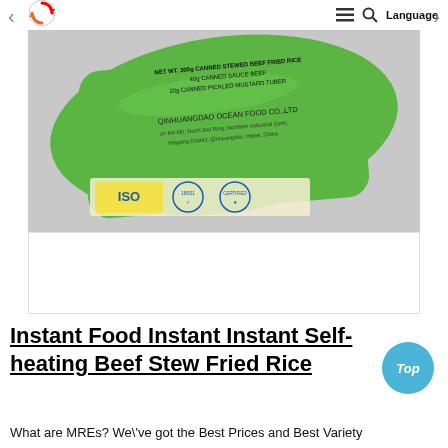< [logo] ≡ 🔍 Language >
[Figure (photo): Green food package labeled 'NET WT. 300g CANNED STEWED BEEF FRIED RICE / 40g CANNED SAUCE BEEF / 20g CANNED PICKLED MUSTARD TUBER' from QINHUANGDAO OCEAN FOOD CO.,LTD with ISO 18001 and other certification logos at bottom left]
Instant Food Instant Instant Self-heating Beef Stew Fried Rice
What are MREs? We\'ve got the Best Prices and Best Variety